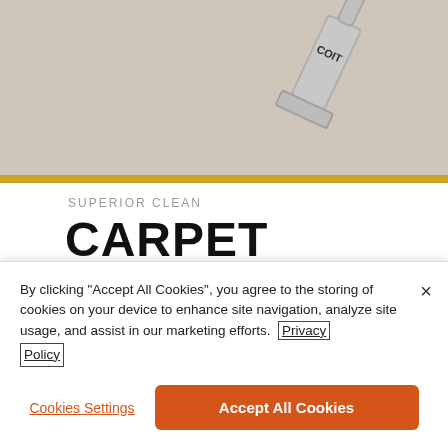[Figure (photo): COIT branded carpet cleaning tool/wand on light beige carpet, with gold bar accent below]
SUPERIOR CLEAN
CARPET
For more than 70 years, homeowners have trusted COIT for professional carpet cleaning at a competitive price. We've perfected our advanced carpet
By clicking "Accept All Cookies", you agree to the storing of cookies on your device to enhance site navigation, analyze site usage, and assist in our marketing efforts. Privacy Policy
Cookies Settings
Accept All Cookies